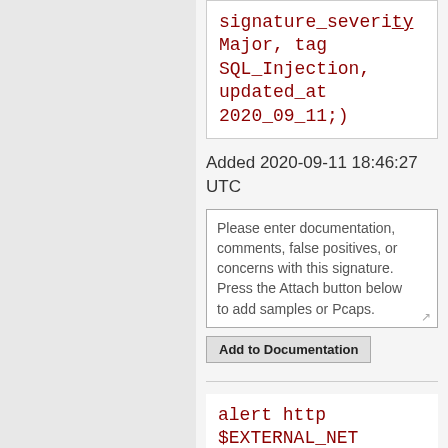signature_severity Major, tag SQL_Injection, updated_at 2020_09_11;)
Added 2020-09-11 18:46:27 UTC
Please enter documentation, comments, false positives, or concerns with this signature. Press the Attach button below to add samples or Pcaps.
Add to Documentation
alert http $EXTERNAL_NET any -> $HTTP_SERVERS any (msg:"ET